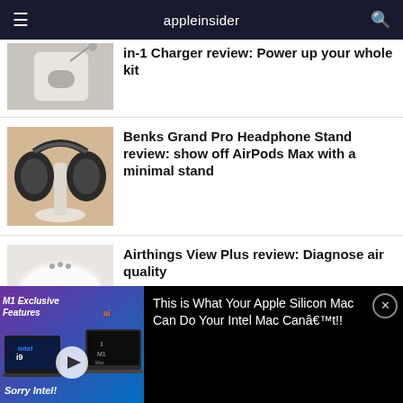appleinsider
[Figure (photo): Partial photo of a charger device on a white surface with AirPods case]
in-1 charger review: Power up your whole kit
[Figure (photo): AirPods Max headphones on a white headphone stand on wooden surface]
Benks Grand Pro Headphone Stand review: show off AirPods Max with a minimal stand
[Figure (photo): Airthings View Plus white circular air quality monitor device]
Airthings View Plus review: Diagnose air quality
[Figure (screenshot): Video ad thumbnail showing M1 Exclusive Features with Intel vs M1 Mac comparison, Sorry Intel text]
This is What Your Apple Silicon Mac Can Do Your Intel Mac Canâ€™t!!